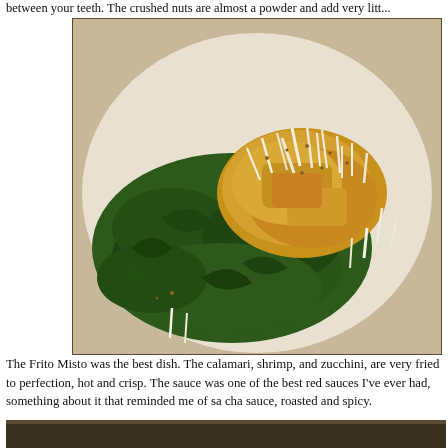between your teeth. The crushed nuts are almost a powder and add very litt...
[Figure (photo): A plate of dark green leafy salad (arugula or spinach) topped with shredded parmesan cheese, crushed nuts, and golden fried pieces, served on a white plate.]
The Frito Misto was the best dish. The calamari, shrimp, and zucchini, are very fried to perfection, hot and crisp. The sauce was one of the best red sauces I've ever had, something about it that reminded me of sa cha sauce, roasted and spicy.
[Figure (photo): Bottom portion of another food photo, partially visible.]